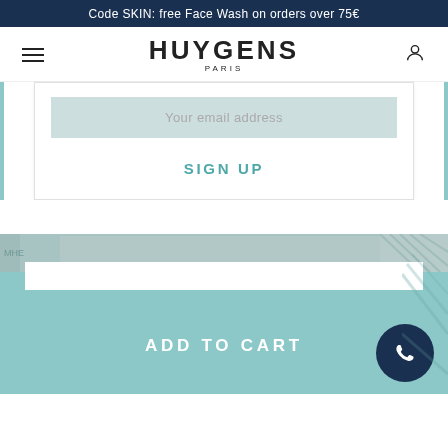Code SKIN: free Face Wash on orders over 75€
HUYGENS PARIS
Your email address
SIGN UP
[Figure (screenshot): Teal/blue decorative photo strip background at bottom of page]
ADD TO CART